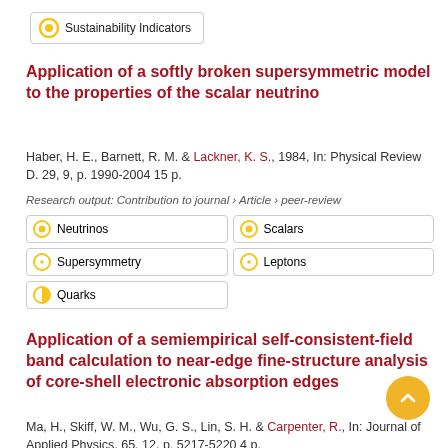[Figure (logo): Sustainability Indicators badge with yellow circle icon]
Application of a softly broken supersymmetric model to the properties of the scalar neutrino
Haber, H. E., Barnett, R. M. & Lackner, K. S., 1984, In: Physical Review D. 29, 9, p. 1990-2004 15 p.
Research output: Contribution to journal › Article › peer-review
Neutrinos · Scalars · Supersymmetry · Leptons · Quarks
Application of a semiempirical self-consistent-field band calculation to near-edge fine-structure analysis of core-shell electronic absorption edges
Ma, H., Skiff, W. M., Wu, G. S., Lin, S. H. & Carpenter, R., In: Journal of Applied Physics. 65, 12, p. 5217-5220 4 p.